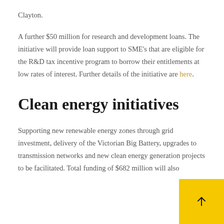Clayton.
A further $50 million for research and development loans. The initiative will provide loan support to SME’s that are eligible for the R&D tax incentive program to borrow their entitlements at low rates of interest. Further details of the initiative are here.
Clean energy initiatives
Supporting new renewable energy zones through grid investment, delivery of the Victorian Big Battery, upgrades to transmission networks and new clean energy generation projects to be facilitated. Total funding of $682 million will also